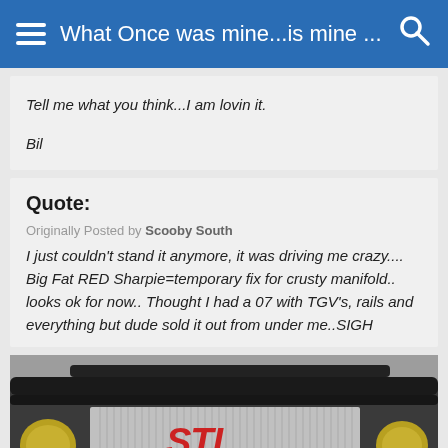What Once was mine...is mine ...
Tell me what you think...I am lovin it.

Bil
Quote:
Originally Posted by Scooby South
I just couldn't stand it anymore, it was driving me crazy.... Big Fat RED Sharpie=temporary fix for crusty manifold.. looks ok for now.. Thought I had a 07 with TGV's, rails and everything but dude sold it out from under me..SIGH
[Figure (photo): Engine bay photo showing a Subaru STI intercooler with STI logo in red, black intake pipes, and engine components visible from above.]